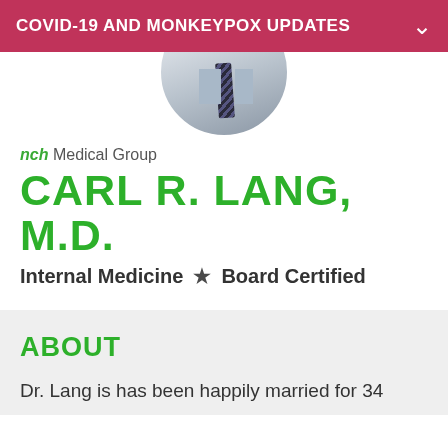COVID-19 AND MONKEYPOX UPDATES
[Figure (photo): Circular portrait photo of Dr. Carl R. Lang, M.D., wearing a white coat and striped tie]
nch Medical Group
CARL R. LANG, M.D.
Internal Medicine  ★  Board Certified
ABOUT
Dr. Lang is has been happily married for 34